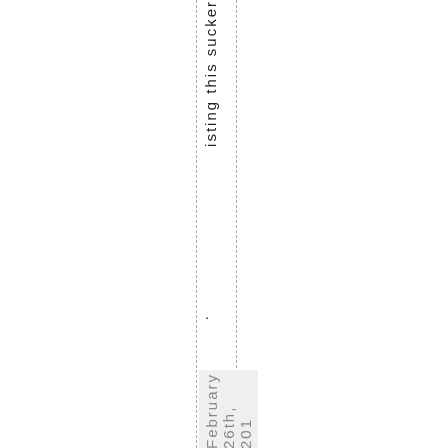isting this sucker.
February 26th, 201